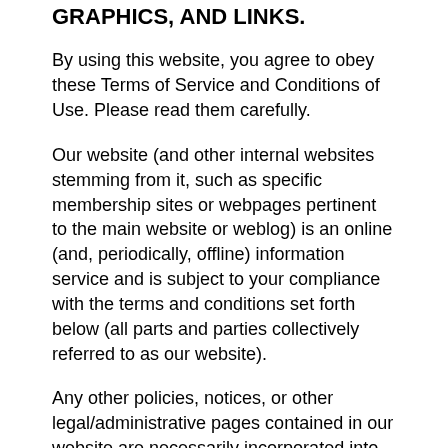GRAPHICS, AND LINKS.
By using this website, you agree to obey these Terms of Service and Conditions of Use. Please read them carefully.
Our website (and other internal websites stemming from it, such as specific membership sites or webpages pertinent to the main website or weblog) is an online (and, periodically, offline) information service and is subject to your compliance with the terms and conditions set forth below (all parts and parties collectively referred to as our website).
Any other policies, notices, or other legal/administrative pages contained in our website are necessarily incorporated into these